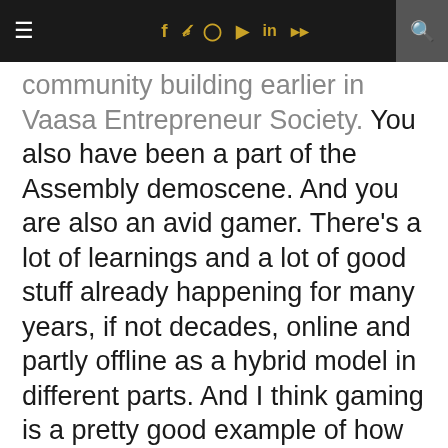≡  f  𝕏  ⊙  ▶  in  )))  🔍
community building earlier in Vaasa Entrepreneur Society. You also have been a part of the Assembly demoscene. And you are also an avid gamer. There's a lot of learnings and a lot of good stuff already happening for many years, if not decades, online and partly offline as a hybrid model in different parts. And I think gaming is a pretty good example of how you can connect and communicate and entertain yourself and be part of a society in a way without actually physically meeting.